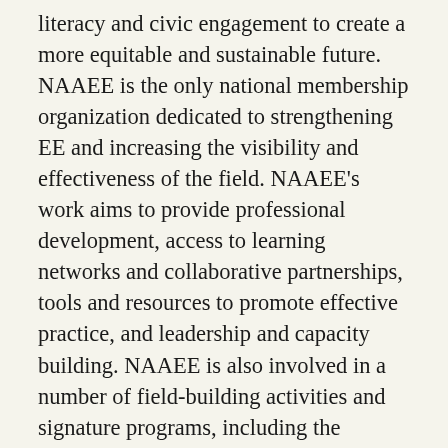literacy and civic engagement to create a more equitable and sustainable future. NAAEE is the only national membership organization dedicated to strengthening EE and increasing the visibility and effectiveness of the field. NAAEE's work aims to provide professional development, access to learning networks and collaborative partnerships, tools and resources to promote effective practice, and leadership and capacity building. NAAEE is also involved in a number of field-building activities and signature programs, including the Natural Start Alliance to advance environmental education in early childhood and the Global Environmental Education